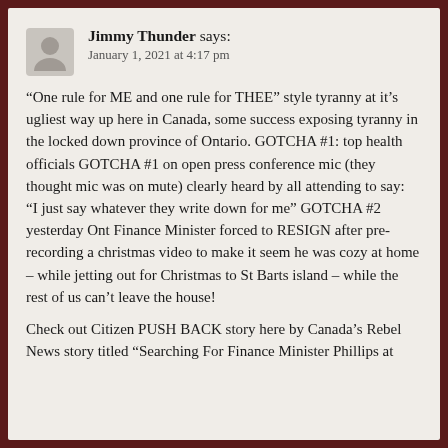Jimmy Thunder says: January 1, 2021 at 4:17 pm
“One rule for ME and one rule for THEE” style tyranny at it’s ugliest way up here in Canada, some success exposing tyranny in the locked down province of Ontario. GOTCHA #1: top health officials GOTCHA #1 on open press conference mic (they thought mic was on mute) clearly heard by all attending to say:
“I just say whatever they write down for me” GOTCHA #2 yesterday Ont Finance Minister forced to RESIGN after pre-recording a christmas video to make it seem he was cozy at home – while jetting out for Christmas to St Barts island – while the rest of us can’t leave the house!
Check out Citizen PUSH BACK story here by Canada’s Rebel News story titled “Searching For Finance Minister Phillips at